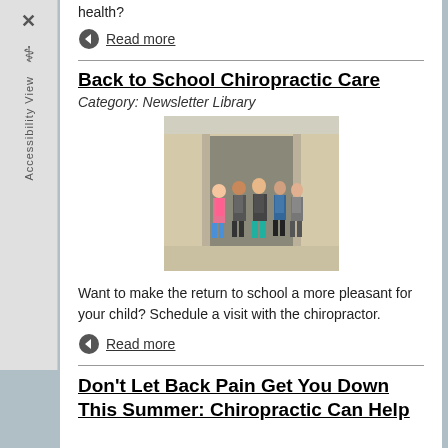health?
Read more
Back to School Chiropractic Care
Category: Newsletter Library
[Figure (photo): Students with backpacks walking into a school building]
Want to make the return to school a more pleasant for your child? Schedule a visit with the chiropractor.
Read more
Don't Let Back Pain Get You Down This Summer: Chiropractic Can Help